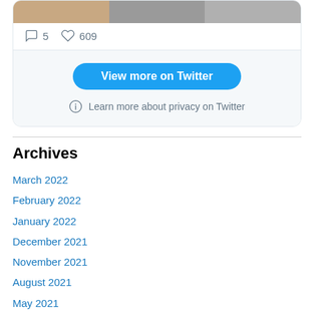[Figure (screenshot): Twitter/X embedded card showing tweet images (animal fur and stone textures), like and comment counts (5 comments, 609 likes), a 'View more on Twitter' blue button, and a 'Learn more about privacy on Twitter' info link]
Archives
March 2022
February 2022
January 2022
December 2021
November 2021
August 2021
May 2021
April 2021